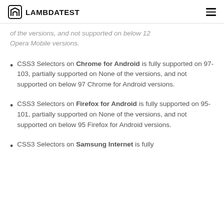LAMBDATEST
of the versions, and not supported on below 12 Opera Mobile versions.
CSS3 Selectors on Chrome for Android is fully supported on 97-103, partially supported on None of the versions, and not supported on below 97 Chrome for Android versions.
CSS3 Selectors on Firefox for Android is fully supported on 95-101, partially supported on None of the versions, and not supported on below 95 Firefox for Android versions.
CSS3 Selectors on Samsung Internet is fully supported on...